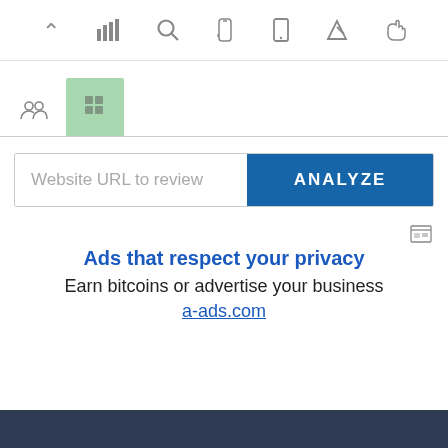[Figure (screenshot): Toolbar with icons: chevron up, bar chart, search/magnifier, hand/pointer, mobile phone, send/navigation arrow, thumbs up]
[Figure (screenshot): Tab bar with group/people icon and an active green tab]
[Figure (screenshot): Search input field with placeholder 'Website URL to review' and blue ANALYZE button]
[Figure (screenshot): Small ad-label icon in upper right of ad area]
Ads that respect your privacy
Earn bitcoins or advertise your business
a-ads.com